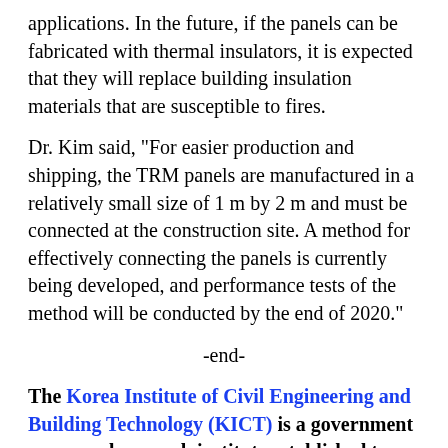applications. In the future, if the panels can be fabricated with thermal insulators, it is expected that they will replace building insulation materials that are susceptible to fires.
Dr. Kim said, "For easier production and shipping, the TRM panels are manufactured in a relatively small size of 1 m by 2 m and must be connected at the construction site. A method for effectively connecting the panels is currently being developed, and performance tests of the method will be conducted by the end of 2020."
-end-
The Korea Institute of Civil Engineering and Building Technology (KICT) is a government sponsored research institute established to contribute to the development of Korea's construction industry and national economic growth by developing source and practical technology in the fields of construction and national land management.